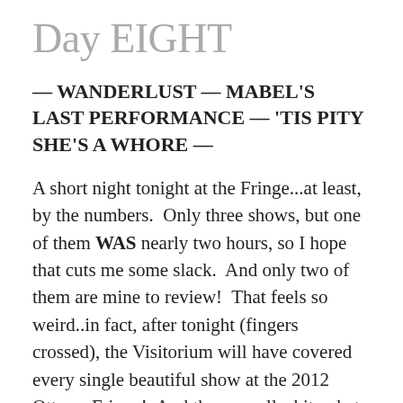Day EIGHT
— WANDERLUST — MABEL'S LAST PERFORMANCE — 'TIS PITY SHE'S A WHORE —
A short night tonight at the Fringe...at least, by the numbers.  Only three shows, but one of them WAS nearly two hours, so I hope that cuts me some slack.  And only two of them are mine to review!  That feels so weird..in fact, after tonight (fingers crossed), the Visitorium will have covered every single beautiful show at the 2012 Ottawa Fringe!  And then…well, shit, what the